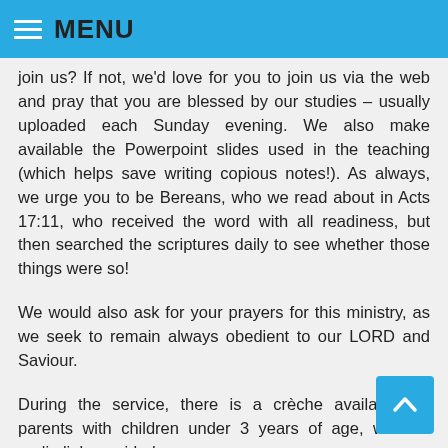MENU
join us? If not, we'd love for you to join us via the web and pray that you are blessed by our studies – usually uploaded each Sunday evening. We also make available the Powerpoint slides used in the teaching (which helps save writing copious notes!). As always, we urge you to be Bereans, who we read about in Acts 17:11, who received the word with all readiness, but then searched the scriptures daily to see whether those things were so!
We would also ask for your prayers for this ministry, as we seek to remain always obedient to our LORD and Saviour.
During the service, there is a crèche available for parents with children under 3 years of age, with an audio link provided.